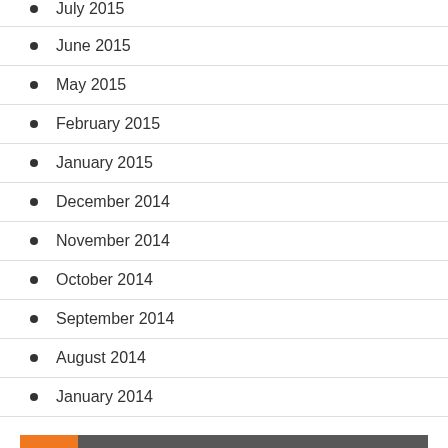July 2015
June 2015
May 2015
February 2015
January 2015
December 2014
November 2014
October 2014
September 2014
August 2014
January 2014
CATEGORIES
ADT CALGARY SECURITY SERVICE